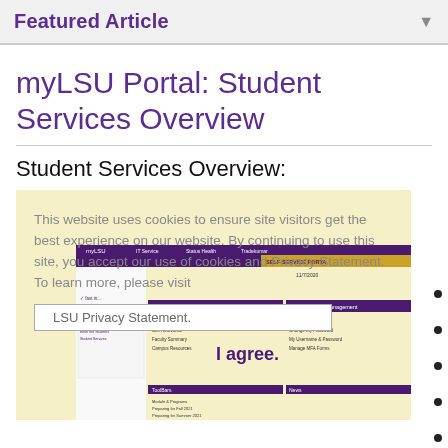Featured Article
myLSU Portal: Student Services Overview
Student Services Overview:
[Figure (screenshot): Screenshot of myLSU portal student services overview page with a cookie consent overlay. The overlay reads: 'This website uses cookies to ensure site visitors get the best experience on our website. By continuing to use this site, you accept our use of cookies and Privacy Statement. To learn more, please visit LSU Privacy Statement.' with an 'I agree.' button. Behind the overlay is the myLSU Self-Service Portal interface dated 11/7/2020 showing navigation menus for Student Resources, Authentication Management, and other sections.]